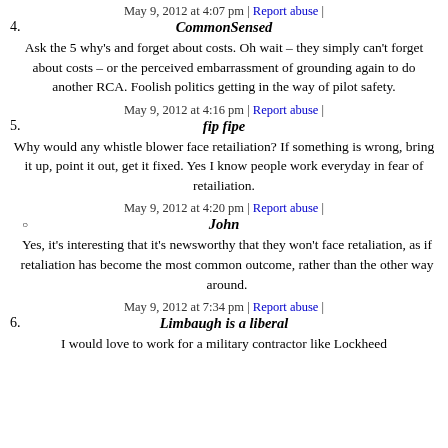May 9, 2012 at 4:07 pm | Report abuse |
4. CommonSensed
Ask the 5 why's and forget about costs. Oh wait – they simply can't forget about costs – or the perceived embarrassment of grounding again to do another RCA. Foolish politics getting in the way of pilot safety.
May 9, 2012 at 4:16 pm | Report abuse |
5. fip fipe
Why would any whistle blower face retailiation? If something is wrong, bring it up, point it out, get it fixed. Yes I know people work everyday in fear of retailiation.
May 9, 2012 at 4:20 pm | Report abuse |
○ John
Yes, it's interesting that it's newsworthy that they won't face retaliation, as if retaliation has become the most common outcome, rather than the other way around.
May 9, 2012 at 7:34 pm | Report abuse |
6. Limbaugh is a liberal
I would love to work for a military contractor like Lockheed